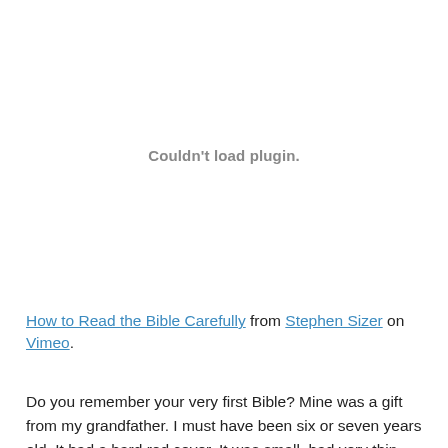[Figure (other): Embedded video plugin area showing 'Couldn't load plugin.' error message in gray text centered in a large white rectangle.]
How to Read the Bible Carefully from Stephen Sizer on Vimeo.
Do you remember your very first Bible? Mine was a gift from my grandfather. I must have been six or seven years old. It had a hard red cover. It was small, had very thin pages and